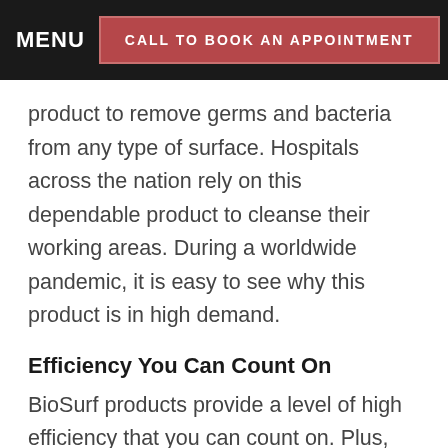MENU  CALL TO BOOK AN APPOINTMENT
product to remove germs and bacteria from any type of surface. Hospitals across the nation rely on this dependable product to cleanse their working areas. During a worldwide pandemic, it is easy to see why this product is in high demand.
Efficiency You Can Count On
BioSurf products provide a level of high efficiency that you can count on. Plus, you don’t have to pay a large amount to enjoy the huge benefits of this product. It is in